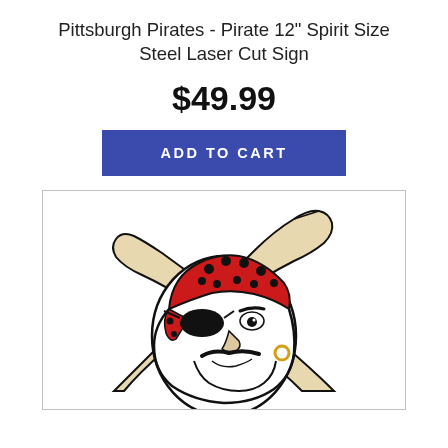Pittsburgh Pirates - Pirate 12" Spirit Size Steel Laser Cut Sign
$49.99
ADD TO CART
[Figure (illustration): Pittsburgh Pirates mascot logo: a bearded pirate with red polka-dot bandana, eye patch, gold earring, and crossed baseball bats behind his head, shown in black, white, red, and gold colors.]